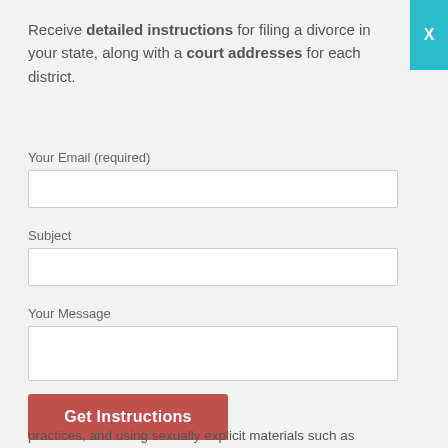Receive detailed instructions for filing a divorce in your state, along with a court addresses for each district.
Your Email (required)
Subject
Your Message
Get Instructions
practices, and using sexually explicit materials such as